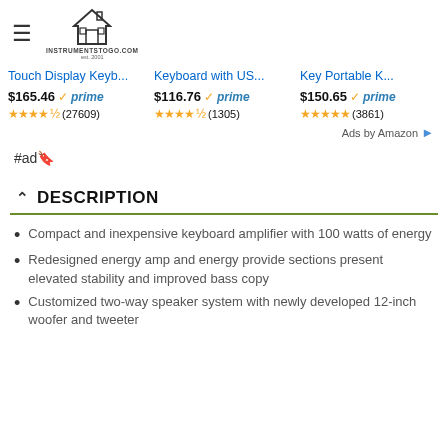instrumentstogo.com
Touch Display Keyb...
$165.46 prime ★★★★☆ (27609)

Keyboard with US...
$116.76 prime ★★★★☆ (1305)

Key Portable K...
$150.65 prime ★★★★★ (3861)
Ads by Amazon
#ad🔖
^ DESCRIPTION
Compact and inexpensive keyboard amplifier with 100 watts of energy
Redesigned energy amp and energy provide sections present elevated stability and improved bass copy
Customized two-way speaker system with newly developed 12-inch woofer and tweeter